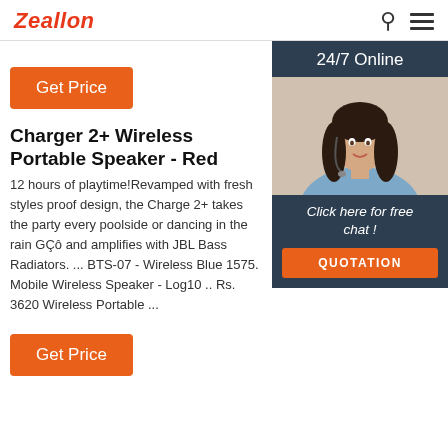Zeallon
Get Price
[Figure (photo): 24/7 Online customer service widget with a woman wearing a headset, with 'Click here for free chat!' text and a QUOTATION button]
Charger 2+ Wireless Portable Speaker - Red
12 hours of playtime!Revamped with fresh styles proof design, the Charge 2+ takes the party every poolside or dancing in the rain GÇô and amplifies with JBL Bass Radiators. ... BTS-07 - Wireless Blue 1575. Mobile Wireless Speaker - Log10 .. Rs. 3620 Wireless Portable ...
Get Price